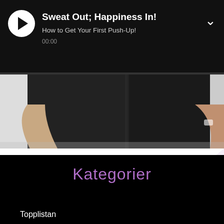Sweat Out; Happiness In! — How to Get Your First Push-Up! — 00:00
[Figure (photo): Two people wearing black clothing standing with hands on hips, cropped at torso level]
Sweat Out; Happiness In!
Konst & kultur
Kategorier
Topplistan